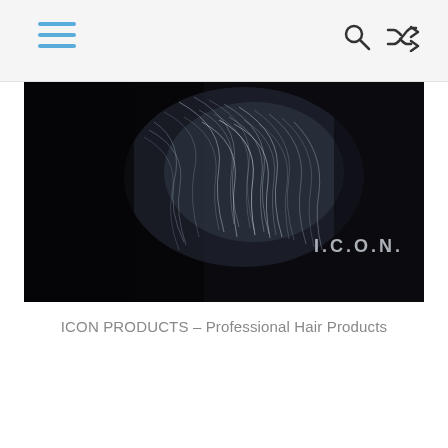Navigation header with hamburger menu, search icon, and shuffle icon
[Figure (photo): Hero banner image showing wispy white/gray hair or smoke-like texture against a dark black background, with the I.C.O.N. brand logo in light gray text in the lower right corner]
ICON PRODUCTS  – Professional Hair Products